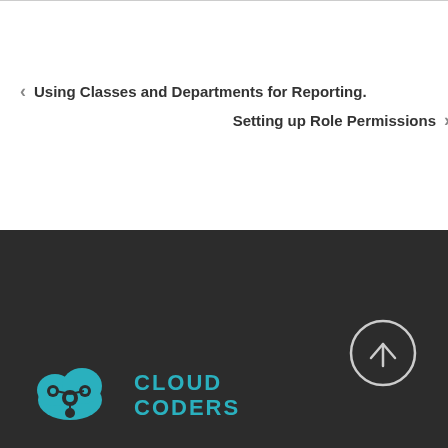< Using Classes and Departments for Reporting.
Setting up Role Permissions >
[Figure (logo): Cloud Coders logo with teal cloud/molecule icon and teal uppercase text CLOUD CODERS]
[Figure (other): Scroll to top button - circle with upward arrow]